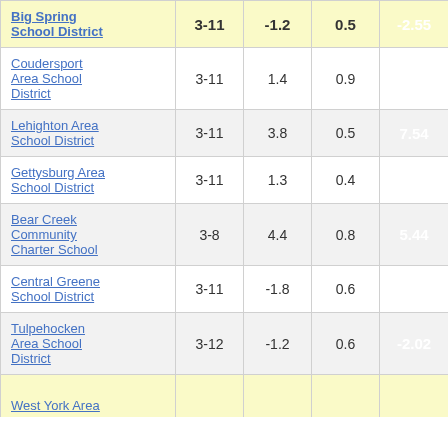| District | Grades | Col3 | Col4 | Score |
| --- | --- | --- | --- | --- |
| Big Spring School District | 3-11 | -1.2 | 0.5 | -2.55 |
| Coudersport Area School District | 3-11 | 1.4 | 0.9 | 1.69 |
| Lehighton Area School District | 3-11 | 3.8 | 0.5 | 7.54 |
| Gettysburg Area School District | 3-11 | 1.3 | 0.4 | 2.96 |
| Bear Creek Community Charter School | 3-8 | 4.4 | 0.8 | 5.44 |
| Central Greene School District | 3-11 | -1.8 | 0.6 | -3.06 |
| Tulpehocken Area School District | 3-12 | -1.2 | 0.6 | -2.02 |
| West York Area ... |  |  |  |  |